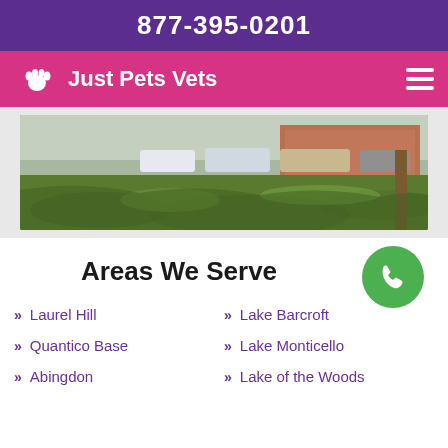877-395-0201
Just Pets Vets
[Figure (photo): Outdoor grassy area with parked cars and a brick building in the background, sunlit lawn with shadows]
Areas We Serve
Laurel Hill
Lake Barcroft
Quantico Base
Lake Monticello
Abingdon
Lake of the Woods